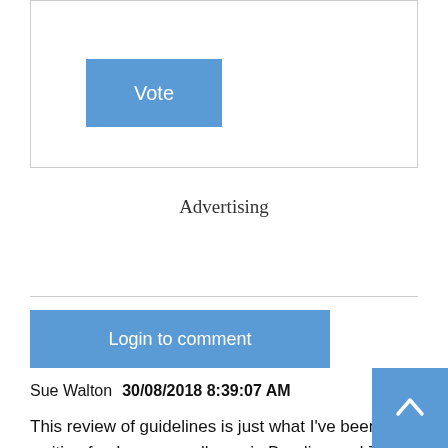[Figure (other): Vote button inside a bordered box]
Advertising
[Figure (other): Login to comment button]
Sue Walton   30/08/2018 8:39:07 AM
This review of guidelines is just what I've been waiting for. I run a small gym in Bendigo and 75% of my clientele are women 45 years and older. We've had great success in